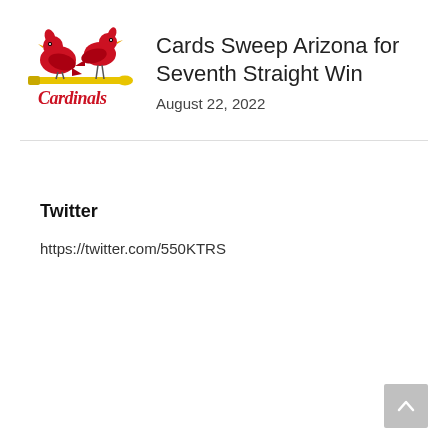[Figure (logo): St. Louis Cardinals MLB logo with two cardinal birds perched on a yellow bat with 'Cardinals' script text]
Cards Sweep Arizona for Seventh Straight Win
August 22, 2022
Twitter
https://twitter.com/550KTRS